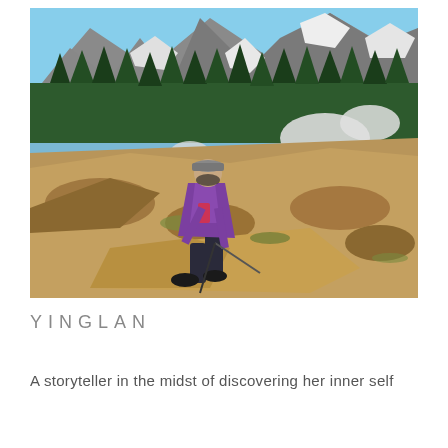[Figure (photo): A woman wearing a purple jacket, black pants, hiking boots, and a gray cap sits on a large rock in a mountainous landscape. She holds a hiking pole or fishing rod. Behind her are evergreen trees, snow patches on rocky slopes, and a blue sky. The scene appears to be a high-altitude hiking or outdoor recreation setting.]
YINGLAN
A storyteller in the midst of discovering her inner self